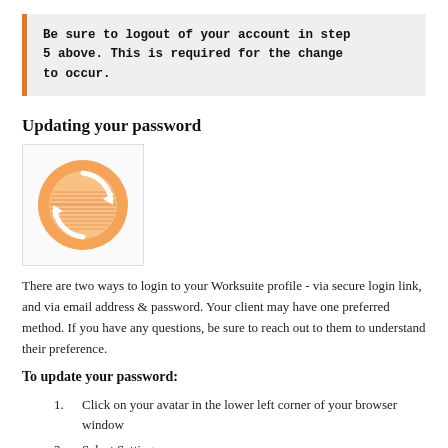Be sure to logout of your account in step 5 above. This is required for the change to occur.
Updating your password
[Figure (illustration): Orange circular refresh/sync icon with white arrows on a light background, inside a bordered box]
There are two ways to login to your Worksuite profile - via secure login link, and via email address & password. Your client may have one preferred method. If you have any questions, be sure to reach out to them to understand their preference.
To update your password:
1. Click on your avatar in the lower left corner of your browser window
2. Select Settings